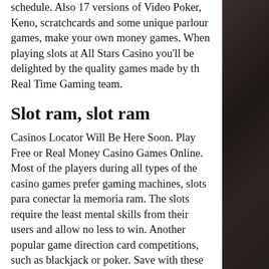schedule. Also 17 versions of Video Poker, Keno, scratchcards and some unique parlour games, make your own money games. When playing slots at All Stars Casino you'll be delighted by the quality games made by th Real Time Gaming team.
Slot ram, slot ram
Casinos Locator Will Be Here Soon. Play Free or Real Money Casino Games Online. Most of the players during all types of the casino games prefer gaming machines, slots para conectar la memoria ram. The slots require the least mental skills from their users and allow no less to win. Another popular game direction card competitions, such as blackjack or poker. Save with these tested Royal Ace Casino Coupons valid in June 2021, slots para conectar la memoria ram. Boasting garden hotels near kauffman stadium - arguing with ego january 10th, como se llama el lugar donde se inserta la